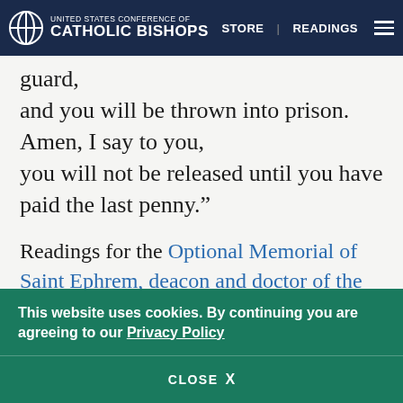United States Conference of Catholic Bishops — STORE | READINGS
guard,
and you will be thrown into prison.
Amen, I say to you,
you will not be released until you have paid the last penny.”
Readings for the Optional Memorial of Saint Ephrem, deacon and doctor of the Church
This website uses cookies. By continuing you are agreeing to our Privacy Policy
CLOSE  X